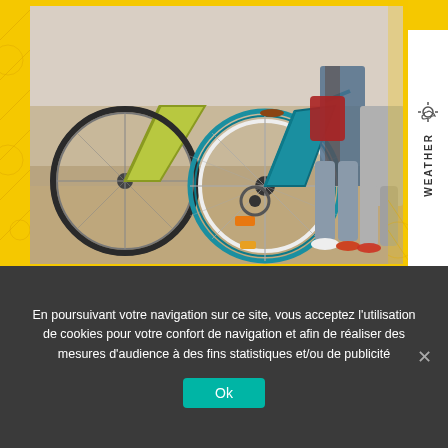[Figure (photo): Photo of two bicycles (one yellow-green, one teal/blue) parked on a sandy beach with people standing behind them, legs visible]
WEATHER
En poursuivant votre navigation sur ce site, vous acceptez l'utilisation de cookies pour votre confort de navigation et afin de réaliser des mesures d'audience à des fins statistiques et/ou de publicité
Ok